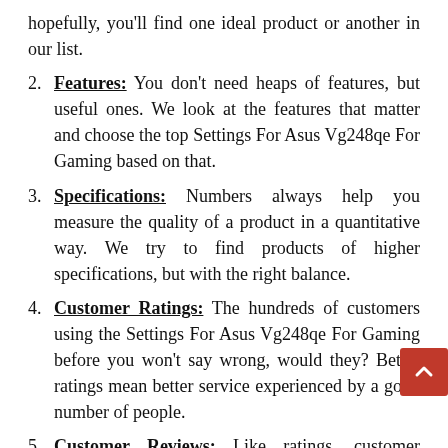hopefully, you'll find one ideal product or another in our list.
2. Features: You don't need heaps of features, but useful ones. We look at the features that matter and choose the top Settings For Asus Vg248qe For Gaming based on that.
3. Specifications: Numbers always help you measure the quality of a product in a quantitative way. We try to find products of higher specifications, but with the right balance.
4. Customer Ratings: The hundreds of customers using the Settings For Asus Vg248qe For Gaming before you won't say wrong, would they? Better ratings mean better service experienced by a good number of people.
5. Customer Reviews: Like ratings, customer reviews give you actual and trustworthy information, coming from real-world